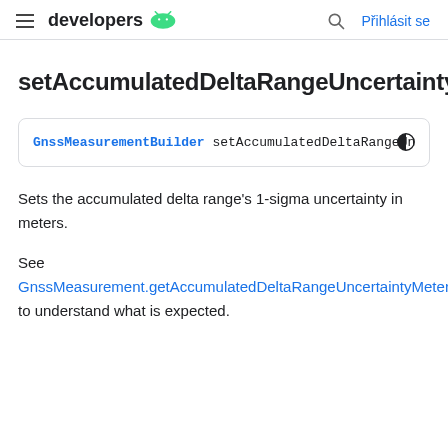developers  Přihlásit se
setAccumulatedDeltaRangeUncertaintyM...
GnssMeasurementBuilder setAccumulatedDeltaRangeUncer
Sets the accumulated delta range's 1-sigma uncertainty in meters.
See GnssMeasurement.getAccumulatedDeltaRangeUncertaintyMeters() to understand what is expected.